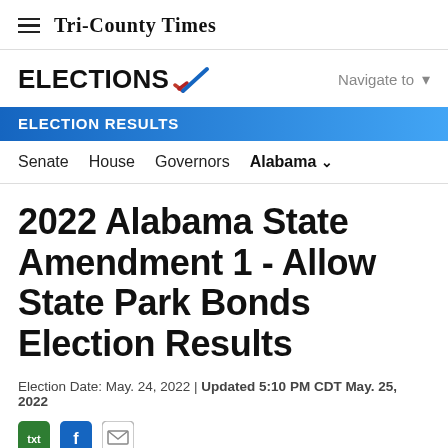Tri-County Times
[Figure (logo): ELECTIONS logo with red/blue check mark icon and Navigate to dropdown]
ELECTION RESULTS
Senate   House   Governors   Alabama ▾
2022 Alabama State Amendment 1 - Allow State Park Bonds Election Results
Election Date: May. 24, 2022 | Updated 5:10 PM CDT May. 25, 2022
[Figure (other): Social share icons: txt (green), Facebook (blue), email (grey)]